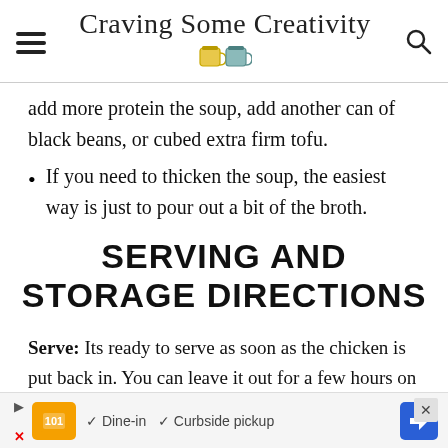Craving Some Creativity
add more protein the soup, add another can of black beans, or cubed extra firm tofu.
If you need to thicken the soup, the easiest way is just to pour out a bit of the broth.
SERVING AND STORAGE DIRECTIONS
Serve: Its ready to serve as soon as the chicken is put back in. You can leave it out for a few hours on the counter to cool before storing. I often serve... every... the